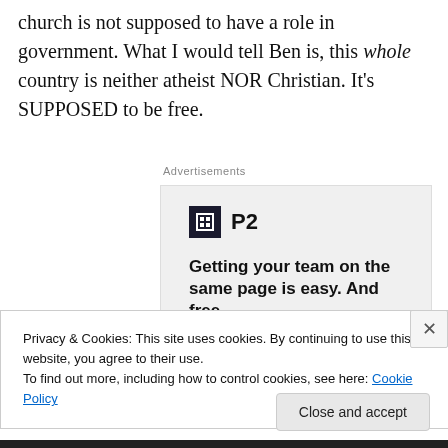church is not supposed to have a role in government. What I would tell Ben is, this whole country is neither atheist NOR Christian. It's SUPPOSED to be free.
[Figure (screenshot): Advertisement for P2 product. Shows P2 logo (dark square with H shape icon and 'P2' text), headline 'Getting your team on the same page is easy. And free.', and four circular avatar images of people.]
Privacy & Cookies: This site uses cookies. By continuing to use this website, you agree to their use.
To find out more, including how to control cookies, see here: Cookie Policy
Close and accept